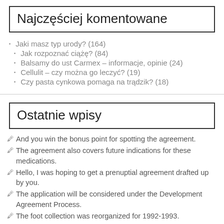Najczęściej komentowane
Jaki masz typ urody? (164)
Jak rozpoznać ciążę? (84)
Balsamy do ust Carmex – informacje, opinie (24)
Cellulit – czy można go leczyć? (19)
Czy pasta cynkowa pomaga na trądzik? (18)
Ostatnie wpisy
And you win the bonus point for spotting the agreement.
The agreement also covers future indications for these medications.
Hello, I was hoping to get a prenuptial agreement drafted up by you.
The application will be considered under the Development Agreement Process.
The foot collection was reorganized for 1992-1993.